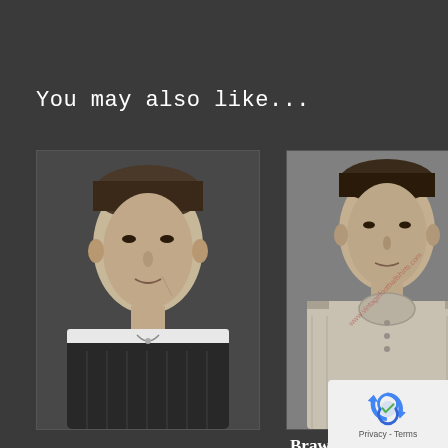You may also like...
[Figure (photo): Black and white vintage portrait photo of a young man wearing a dark sports jersey with white collar stripe]
[Figure (photo): Black and white vintage photo of W. Brawn, Chelsea, a man in a light coloured sports top with buttons, with a watermark reading www.vintagefootballshirts.com and a label at the bottom reading W. BRAWN, CHELSEA]
Brawn Bi
[Figure (logo): reCAPTCHA logo with Privacy - Terms text]